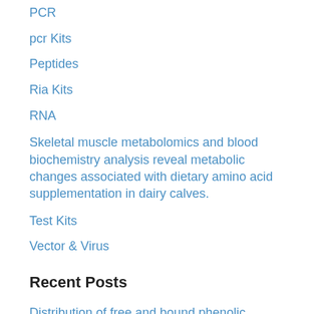PCR
pcr Kits
Peptides
Ria Kits
RNA
Skeletal muscle metabolomics and blood biochemistry analysis reveal metabolic changes associated with dietary amino acid supplementation in dairy calves.
Test Kits
Vector & Virus
Recent Posts
Distribution of free and bound phenolic